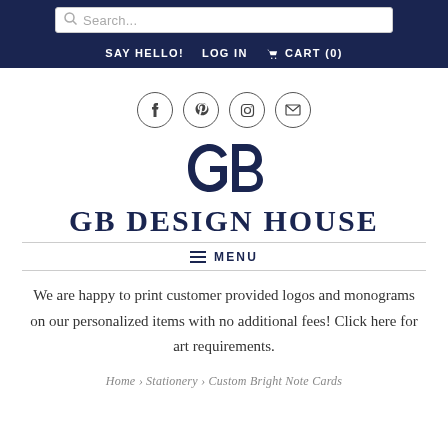Search... | SAY HELLO! | LOG IN | CART (0)
[Figure (logo): Social media icons: Facebook, Pinterest, Instagram, Email in circles]
[Figure (logo): GB Design House monogram logo with stylized GB letters in navy]
GB DESIGN HOUSE
MENU
We are happy to print customer provided logos and monograms on our personalized items with no additional fees! Click here for art requirements.
Home › Stationery › Custom Bright Note Cards